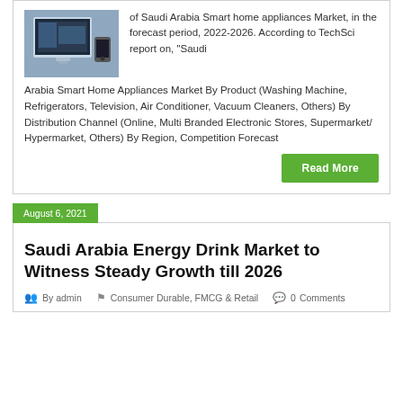[Figure (photo): Photo of a smart home device/appliance — appears to be a smart TV or control panel in a living room setting]
of Saudi Arabia Smart home appliances Market, in the forecast period, 2022-2026. According to TechSci report on, “Saudi Arabia Smart Home Appliances Market By Product (Washing Machine, Refrigerators, Television, Air Conditioner, Vacuum Cleaners, Others) By Distribution Channel (Online, Multi Branded Electronic Stores, Supermarket/ Hypermarket, Others) By Region, Competition Forecast
Read More
August 6, 2021
Saudi Arabia Energy Drink Market to Witness Steady Growth till 2026
By admin   Consumer Durable, FMCG & Retail   0 Comments